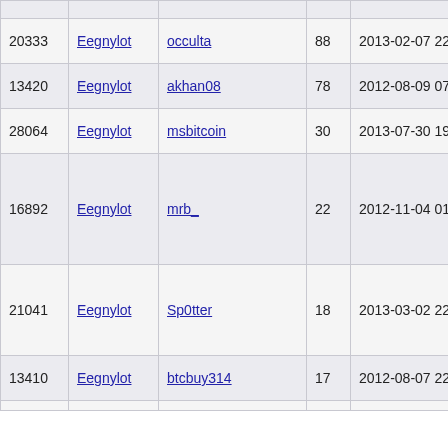| 20333 | Eegnylot | occulta | 88 | 2013-02-07 22:31:53 |
| 13420 | Eegnylot | akhan08 | 78 | 2012-08-09 07:03:19 |
| 28064 | Eegnylot | msbitcoin | 30 | 2013-07-30 19:31:15 |
| 16892 | Eegnylot | mrb_ | 22 | 2012-11-04 01:35:09 |
| 21041 | Eegnylot | Sp0tter | 18 | 2013-03-02 22:54:37 |
| 13410 | Eegnylot | btcbuy314 | 17 | 2012-08-07 22:10:14 |